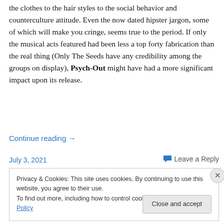the clothes to the hair styles to the social behavior and counterculture attitude. Even the now dated hipster jargon, some of which will make you cringe, seems true to the period. If only the musical acts featured had been less a top forty fabrication than the real thing (Only The Seeds have any credibility among the groups on display), Psych-Out might have had a more significant impact upon its release.
Continue reading →
July 3, 2021
Leave a Reply
Privacy & Cookies: This site uses cookies. By continuing to use this website, you agree to their use. To find out more, including how to control cookies, see here: Cookie Policy